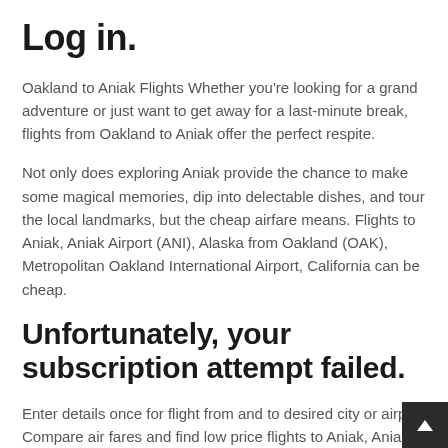Log in.
Oakland to Aniak Flights Whether you're looking for a grand adventure or just want to get away for a last-minute break, flights from Oakland to Aniak offer the perfect respite.
Not only does exploring Aniak provide the chance to make some magical memories, dip into delectable dishes, and tour the local landmarks, but the cheap airfare means. Flights to Aniak, Aniak Airport (ANI), Alaska from Oakland (OAK), Metropolitan Oakland International Airport, California can be cheap.
Unfortunately, your subscription attempt failed.
Enter details once for flight from and to desired city or airport. Compare air fares and find low price flights to Aniak, Aniak Airport (ANI) From Oakland (OAK), California. Compare & reserve one-way or return flights from Aniak to Oakland from only to get th